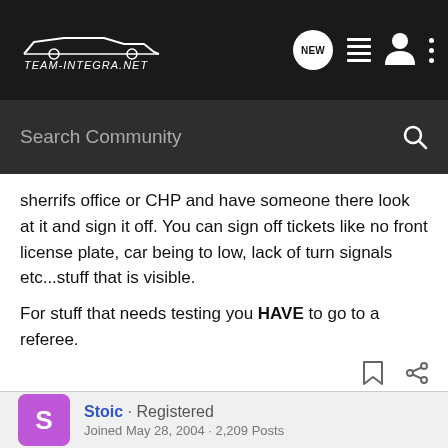[Figure (screenshot): Team-Integra.net website navigation bar with logo, NEW button, list icon, user icon, and more options icon]
Search Community
sherrifs office or CHP and have someone there look at it and sign it off. You can sign off tickets like no front license plate, car being to low, lack of turn signals etc...stuff that is visible.

For stuff that needs testing you HAVE to go to a referee.
Stoic · Registered
Joined May 28, 2004 · 2,209 Posts
#15 · Feb 14, 2006
Most exhausts are under 95 dB, which is the limit.l For those of you wondering what happens, you MUST go to the CHP State